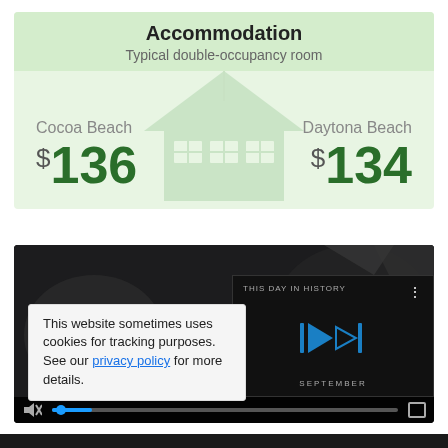Accommodation
Typical double-occupancy room
Cocoa Beach $136
Daytona Beach $134
[Figure (screenshot): Video thumbnail showing 'THIS DAY IN HISTORY' with a mini video player overlay showing play button and SEPTEMBER label, and video controls bar at bottom]
This website sometimes uses cookies for tracking purposes. See our privacy policy for more details.